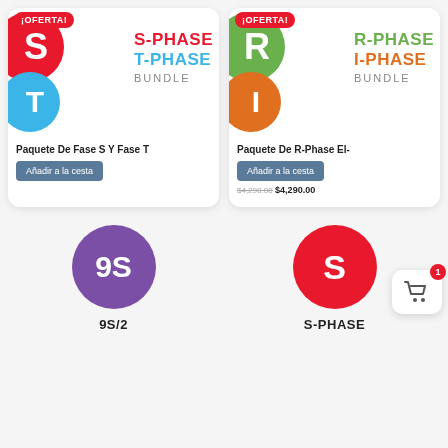[Figure (illustration): S-Phase T-Phase Bundle product card with red S circle and blue T circle, ¡OFERTA! badge]
Paquete De Fase S Y Fase T
Añadir a la cesta
[Figure (illustration): R-Phase I-Phase Bundle product card with green R circle and orange I circle, ¡OFERTA! badge]
Paquete De R-Phase El-
Añadir a la cesta
$4,290.00
[Figure (illustration): Purple circle with 9S text]
9S/2
[Figure (illustration): Red circle with S text]
S-PHASE